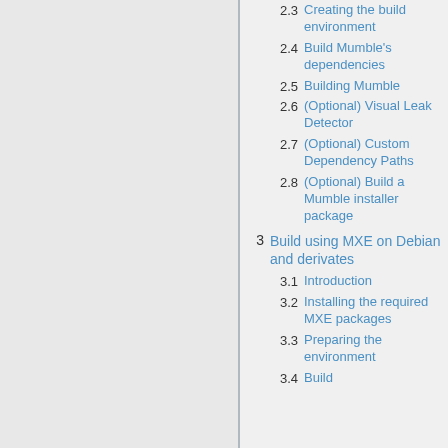2.3 Creating the build environment
2.4 Build Mumble's dependencies
2.5 Building Mumble
2.6 (Optional) Visual Leak Detector
2.7 (Optional) Custom Dependency Paths
2.8 (Optional) Build a Mumble installer package
3 Build using MXE on Debian and derivates
3.1 Introduction
3.2 Installing the required MXE packages
3.3 Preparing the environment
3.4 Build